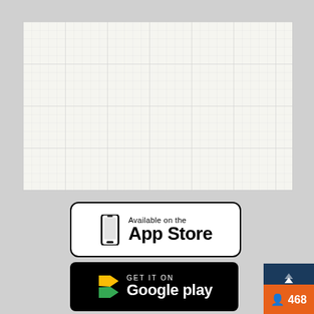[Figure (other): Light-colored grid/chart area with faint grid lines on a pale off-white background]
[Figure (other): Apple App Store download badge — white background with rounded border, phone icon, text 'Available on the App Store']
[Figure (other): Google Play download badge — black background with colored Play logo, text 'GET IT ON Google play']
[Figure (other): User count badge in bottom-right corner — dark navy top section, orange bottom section with person icon and number 468]